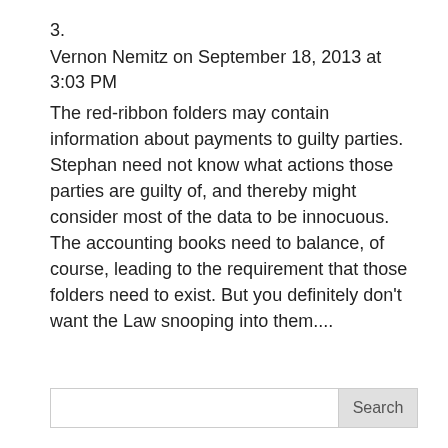3.
Vernon Nemitz on September 18, 2013 at 3:03 PM
The red-ribbon folders may contain information about payments to guilty parties. Stephan need not know what actions those parties are guilty of, and thereby might consider most of the data to be innocuous. The accounting books need to balance, of course, leading to the requirement that those folders need to exist. But you definitely don’t want the Law snooping into them....